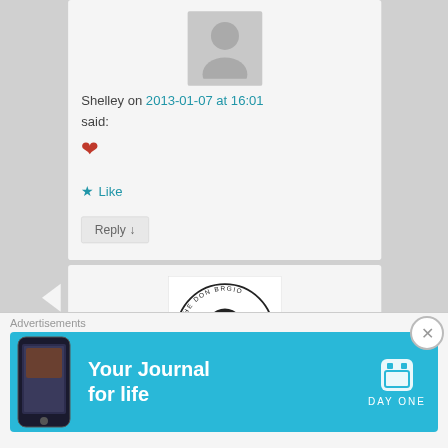[Figure (photo): Gray placeholder avatar silhouette for user Shelley]
Shelley on 2013-01-07 at 16:01
said:
❤
★ Like
Reply ↓
[Figure (logo): The Don Brgio logo - bearded man with sunglasses circular badge]
Brother Jon on 2012-12-31 at
Advertisements
[Figure (screenshot): Day One app advertisement banner - Your Journal for life, light blue background with phone mockup]